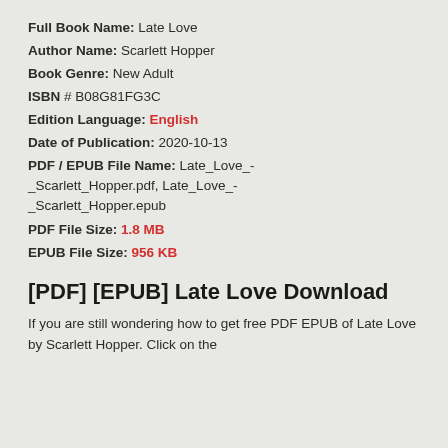Full Book Name: Late Love
Author Name: Scarlett Hopper
Book Genre: New Adult
ISBN # B08G81FG3C
Edition Language: English
Date of Publication: 2020-10-13
PDF / EPUB File Name: Late_Love_-_Scarlett_Hopper.pdf, Late_Love_-_Scarlett_Hopper.epub
PDF File Size: 1.8 MB
EPUB File Size: 956 KB
[PDF] [EPUB] Late Love Download
If you are still wondering how to get free PDF EPUB of Late Love by Scarlett Hopper. Click on the